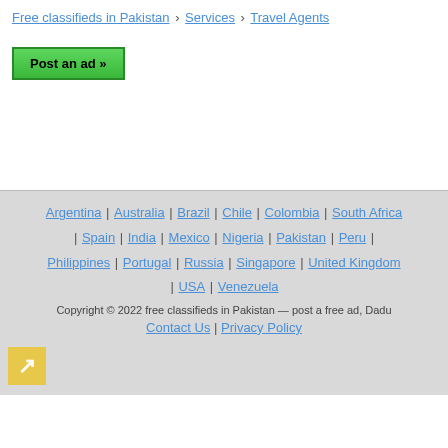Free classifieds in Pakistan › Services › Travel Agents
Post an ad »
Argentina | Australia | Brazil | Chile | Colombia | South Africa | Spain | India | Mexico | Nigeria | Pakistan | Peru | Philippines | Portugal | Russia | Singapore | United Kingdom | USA | Venezuela
Copyright © 2022 free classifieds in Pakistan — post a free ad, Dadu
Contact Us | Privacy Policy